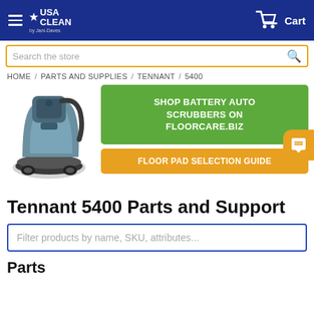USA CLEAN by Jani-Daves — Cart
Search the store
HOME / PARTS AND SUPPLIES / TENNANT / 5400
[Figure (photo): Tennant 5400 floor scrubber machine]
SHOP BATTERY AUTO SCRUBBERS ON FLOORCARE.BIZ
FLOOR PAD SELECTION GUIDE
Tennant 5400 Parts and Support
Filter products by name, SKU, attributes...
Parts